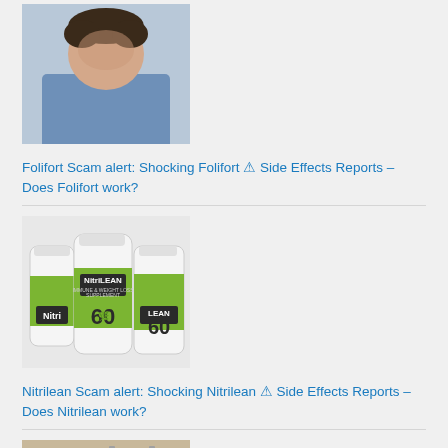[Figure (photo): Man with head bowed, wearing blue shirt, looking down]
Folifort Scam alert: Shocking Folifort ⚠️ Side Effects Reports – Does Folifort work?
[Figure (photo): Three NitriLEAN supplement bottles with green and white labels showing 60 capsules]
Nitrilean Scam alert: Shocking Nitrilean ⚠️ Side Effects Reports – Does Nitrilean work?
[Figure (photo): Hands near acupuncture needles on a wooden surface]